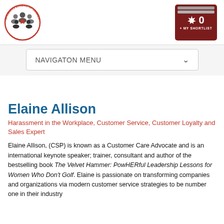[Figure (logo): Speakers Bureau of Canada circular logo with silhouettes of people and a maple leaf in the center]
[Figure (infographic): Dark red shortlist button with stack of papers icon, maple leaf, number 0, and text '+ MY SHORTLIST']
[Figure (screenshot): Navigation menu dropdown bar with text 'NAVIGATON MENU' and a chevron arrow]
Elaine Allison
Harassment in the Workplace, Customer Service, Customer Loyalty and Sales Expert
Elaine Allison, (CSP) is known as a Customer Care Advocate and is an international keynote speaker; trainer, consultant and author of the bestselling book The Velvet Hammer: PowHERful Leadership Lessons for Women Who Don't Golf. Elaine is passionate on transforming companies and organizations via modern customer service strategies to be number one in their industry